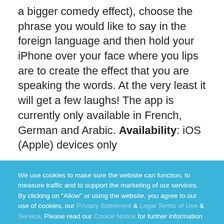a bigger comedy effect), choose the phrase you would like to say in the foreign language and then hold your iPhone over your face where you lips are to create the effect that you are speaking the words. At the very least it will get a few laughs! The app is currently only available in French, German and Arabic. Availability: iOS (Apple) devices only
We use cookies to make sure the website can function, to measure traffic and to support the marketing of our services. By clicking on "Allow" or using the website, you agree to our use of cookies, our Privacy Statement & Legal Terms of Use & Service. Please read our Cookie Notice for further information about our use of cookies. You may change your consent by rejecting optional cookies in the settings or by blocking cookies in your browser.